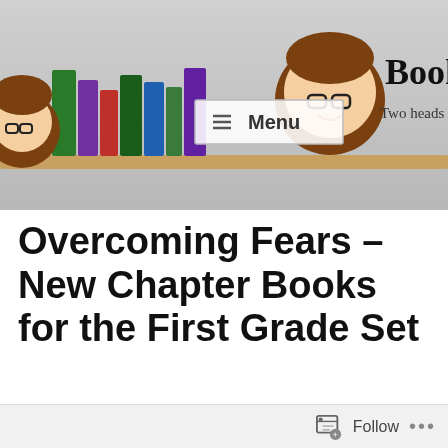[Figure (illustration): Bookends blog header banner showing two cartoon characters with glasses peeking from sides of a colorful bookshelf, with site name 'Bookend' and tagline 'Two heads are better than' visible. A 'Menu' button overlay is shown in the center.]
Overcoming Fears – New Chapter Books for the First Grade Set
Follow ...